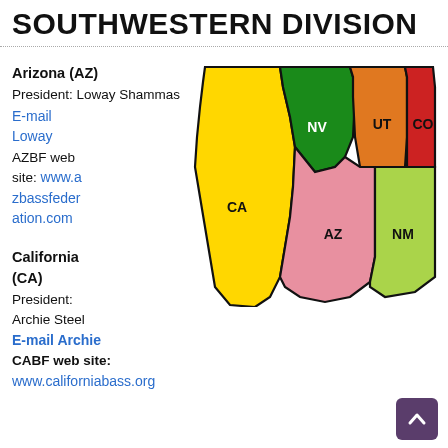SOUTHWESTERN DIVISION
Arizona (AZ)
President: Loway Shammas
E-mail Loway
AZBF web site: www.azbassfederation.com
[Figure (map): Color-coded map of southwestern US states: CA (yellow), NV (green), UT (orange), CO (red), AZ (pink), NM (light green)]
California (CA)
President: Archie Steel
E-mail Archie
CABF web site: www.californiabass.org